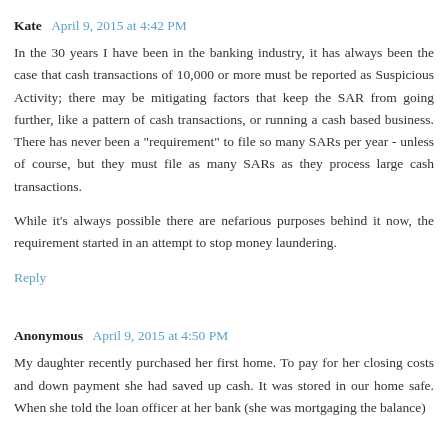Kate  April 9, 2015 at 4:42 PM
In the 30 years I have been in the banking industry, it has always been the case that cash transactions of 10,000 or more must be reported as Suspicious Activity; there may be mitigating factors that keep the SAR from going further, like a pattern of cash transactions, or running a cash based business. There has never been a "requirement" to file so many SARs per year - unless of course, but they must file as many SARs as they process large cash transactions.
While it's always possible there are nefarious purposes behind it now, the requirement started in an attempt to stop money laundering.
Reply
Anonymous  April 9, 2015 at 4:50 PM
My daughter recently purchased her first home. To pay for her closing costs and down payment she had saved up cash. It was stored in our home safe. When she told the loan officer at her bank (she was mortgaging the balance)